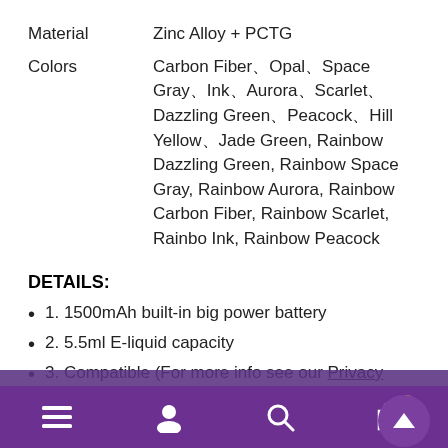| Property | Value |
| --- | --- |
| Material | Zinc Alloy + PCTG |
| Colors | Carbon Fiber、Opal、Space Gray、Ink、Aurora、Scarlet、Dazzling Green、Peacock、Hill Yellow、Jade Green, Rainbow Dazzling Green, Rainbow Space Gray, Rainbow Aurora, Rainbow Carbon Fiber, Rainbow Scarlet, Rainbow Ink, Rainbow Peacock |
DETAILS:
1. 1500mAh built-in big power battery
2. 5.5ml E-liquid capacity
3. [partially obscured]
4. 0.96" TFT [partially obscured] vaping
5. PUFF cu[t off] s for 2 weeks
6. Compatible with E-juice and nic-salt vaping
To improve your browsing experience, we use cookies. For more info see our Privacy Policy.
ACCEPT